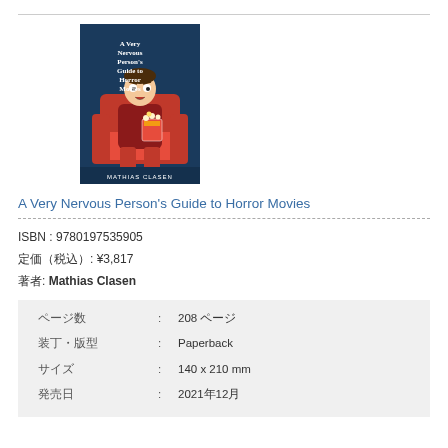[Figure (illustration): Book cover of 'A Very Nervous Person's Guide to Horror Movies' by Mathias Clasen, showing a cartoon man sitting nervously in a red armchair with popcorn, on a dark blue background.]
A Very Nervous Person's Guide to Horror Movies
ISBN : 9780197535905
定価（税込）: ¥3,817
著者: Mathias Clasen
| ページ数 | : | 208 ページ |
| 装丁・版型 | : | Paperback |
| サイズ | : | 140 x 210 mm |
| 発売日 | : | 2021年12月 |